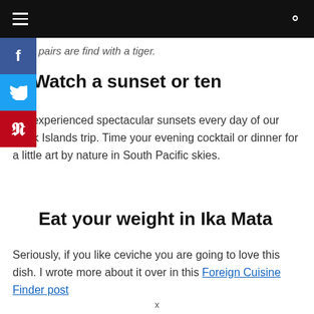≡  [search icon]
pairs are find with a tiger.
7. Watch a sunset or ten
We experienced spectacular sunsets every day of our Cook Islands trip. Time your evening cocktail or dinner for a little art by nature in South Pacific skies.
Eat your weight in Ika Mata
Seriously, if you like ceviche you are going to love this dish. I wrote more about it over in this Foreign Cuisine Finder post
x